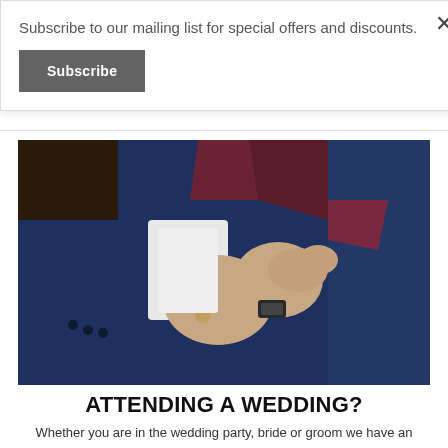Subscribe to our mailing list for special offers and discounts.
Subscribe
[Figure (photo): A man in a navy blue suit with a burgundy bow tie and pocket square, adjusting his cufflink. A gold heart icon is overlaid on the lower left.]
ATTENDING A WEDDING?
Whether you are in the wedding party, bride or groom we have an